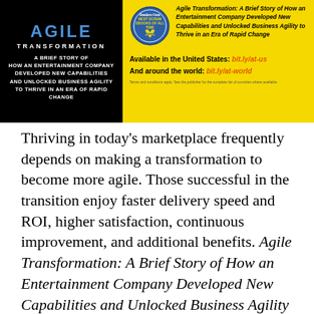[Figure (illustration): Left: Book cover with black background showing 'AGILE TRANSFORMATION' title in red/blue/white text with subtitle. Right: Yellow panel with award badge and book title in italic, plus links bit.ly/at-us and bit.ly/at-world in orange.]
Thriving in today's marketplace frequently depends on making a transformation to become more agile. Those successful in the transition enjoy faster delivery speed and ROI, higher satisfaction, continuous improvement, and additional benefits. Agile Transformation: A Brief Story of How an Entertainment Company Developed New Capabilities and Unlocked Business Agility to Thrive in an Era of Rapid Change (ISBN-13: 978-1072447962) provides a revealing behind-the-scenes story about an actual successful agile implementation at a global entertainment company.